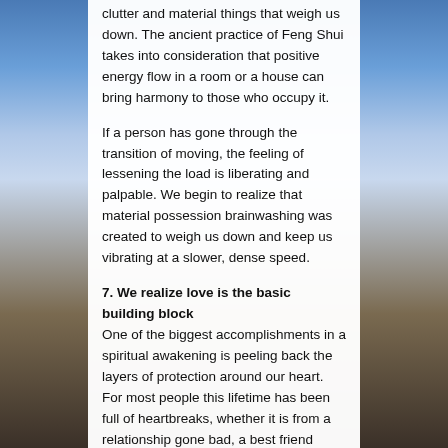clutter and material things that weigh us down. The ancient practice of Feng Shui takes into consideration that positive energy flow in a room or a house can bring harmony to those who occupy it.
If a person has gone through the transition of moving, the feeling of lessening the load is liberating and palpable. We begin to realize that material possession brainwashing was created to weigh us down and keep us vibrating at a slower, dense speed.
7. We realize love is the basic building block
One of the biggest accomplishments in a spiritual awakening is peeling back the layers of protection around our heart. For most people this lifetime has been full of heartbreaks, whether it is from a relationship gone bad, a best friend betrayal, or even a child leaving home for college. Positive occurrences include the birth of a child or finding a healthy relationship that allows growth together as